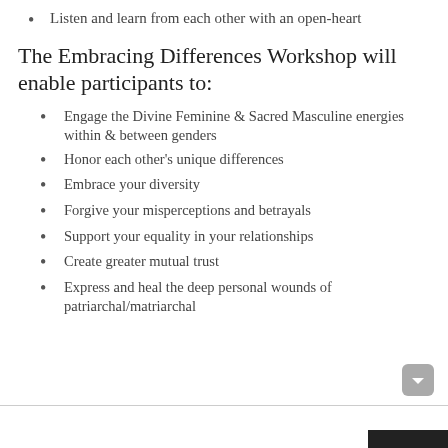Listen and learn from each other with an open-heart
The Embracing Differences Workshop will enable participants to:
Engage the Divine Feminine & Sacred Masculine energies within & between genders
Honor each other's unique differences
Embrace your diversity
Forgive your misperceptions and betrayals
Support your equality in your relationships
Create greater mutual trust
Express and heal the deep personal wounds of patriarchal/matriarchal